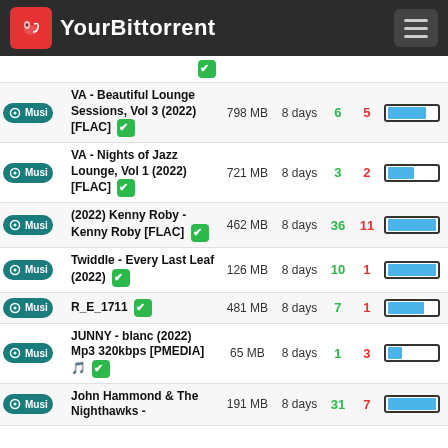YourBittorrent
| Category | Title | Size | Age | Seeds | Leeches | Bar |
| --- | --- | --- | --- | --- | --- | --- |
| Music |  |  |  |  |  |  |
| Music | VA - Beautiful Lounge Sessions, Vol 3 (2022) [FLAC] | 798 MB | 8 days | 6 | 5 |  |
| Music | VA - Nights of Jazz Lounge, Vol 1 (2022) [FLAC] | 721 MB | 8 days | 3 | 2 |  |
| Music | (2022) Kenny Roby - Kenny Roby [FLAC] | 462 MB | 8 days | 36 | 11 |  |
| Music | Twiddle - Every Last Leaf (2022) | 126 MB | 8 days | 10 | 1 |  |
| Music | R_E_1711 | 481 MB | 8 days | 7 | 1 |  |
| Music | JUNNY - blanc (2022) Mp3 320kbps [PMEDIA] 🎵 | 65 MB | 8 days | 1 | 3 |  |
| Music | John Hammond & The Nighthawks - | 191 MB | 8 days | 31 | 7 |  |